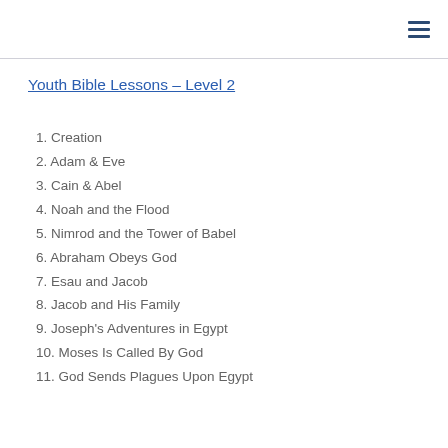≡
Youth Bible Lessons – Level 2
1. Creation
2. Adam & Eve
3. Cain & Abel
4. Noah and the Flood
5. Nimrod and the Tower of Babel
6. Abraham Obeys God
7. Esau and Jacob
8. Jacob and His Family
9. Joseph's Adventures in Egypt
10. Moses Is Called By God
11. God Sends Plagues Upon Egypt